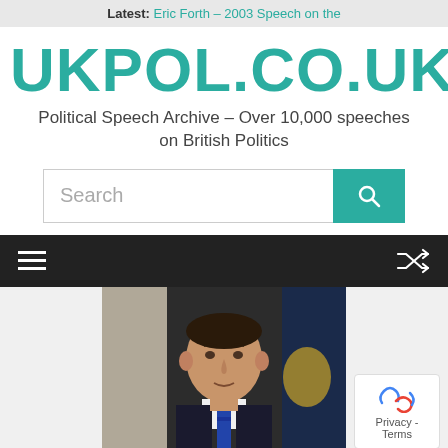Latest: Eric Forth – 2003 Speech on the
UKPOL.CO.UK
Political Speech Archive – Over 10,000 speeches on British Politics
[Figure (screenshot): Search input field with teal search button containing a magnifying glass icon]
[Figure (screenshot): Dark navigation bar with hamburger menu on left and shuffle icon on right]
[Figure (photo): Portrait photo of a man in a dark suit with a blue tie, standing in front of blue and gold flags, appearing to be an official government portrait]